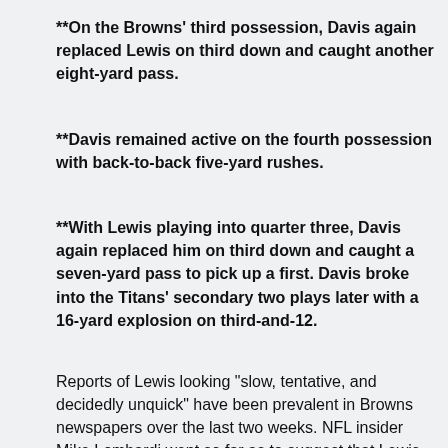**On the Browns' third possession, Davis again replaced Lewis on third down and caught another eight-yard pass.
**Davis remained active on the fourth possession with back-to-back five-yard rushes.
**With Lewis playing into quarter three, Davis again replaced him on third down and caught a seven-yard pass to pick up a first. Davis broke into the Titans' secondary two plays later with a 16-yard explosion on third-and-12.
Reports of Lewis looking "slow, tentative, and decidedly unquick" have been prevalent in Browns newspapers over the last two weeks. NFL insider Mike Lombardi went so far as to suggest that Lewis could miss the final cut on Saturday. It'd be quite a mistake to admit after the Browns paid Lewis a $4 million roster bonus this offseason, but clearly the team will lean on Davis early. Already the